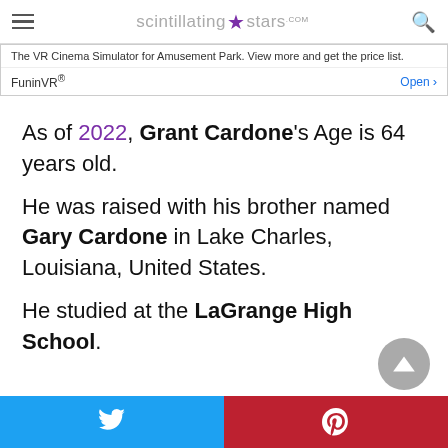scintillating stars .com
[Figure (infographic): Advertisement banner: 'The VR Cinema Simulator for Amusement Park. View more and get the price list.' FuninVR® with Open button]
As of 2022, Grant Cardone's Age is 64 years old.
He was raised with his brother named Gary Cardone in Lake Charles, Louisiana, United States.
He studied at the LaGrange High School.